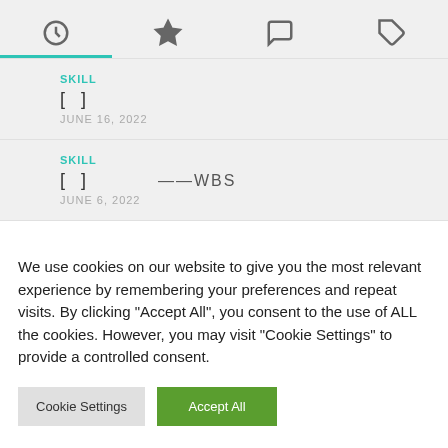[Figure (screenshot): Navigation tab bar with four icons: clock (active, with teal underline), star, speech bubble, and tag]
SKILL
[  ]
JUNE 16, 2022
SKILL
[  ]  ——WBS
JUNE 6, 2022
We use cookies on our website to give you the most relevant experience by remembering your preferences and repeat visits. By clicking "Accept All", you consent to the use of ALL the cookies. However, you may visit "Cookie Settings" to provide a controlled consent.
Cookie Settings
Accept All